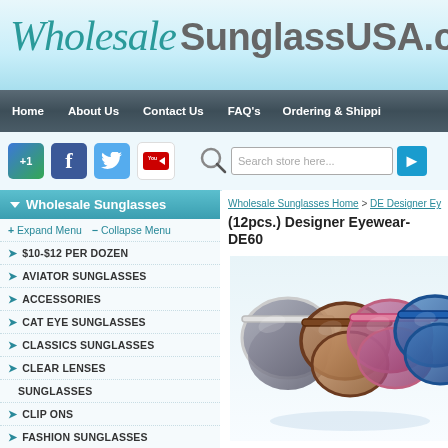[Figure (logo): WholesaleSunglassUSA.com logo with teal cursive 'Wholesale' and gray sans-serif 'SunglassUSA.com' text on light blue gradient background]
Home | About Us | Contact Us | FAQ's | Ordering & Shippi
[Figure (infographic): Social media icons: Google+1, Facebook, Twitter, YouTube, followed by search bar with 'Search store here...' placeholder and blue arrow button]
↓Wholesale Sunglasses
+ Expand Menu   − Collapse Menu
➡ $10-$12 PER DOZEN
➡ AVIATOR SUNGLASSES
➡ ACCESSORIES
➡ CAT EYE SUNGLASSES
➡ CLASSICS SUNGLASSES
➡ CLEAR LENSES SUNGLASSES
➡ CLIP ONS
➡ FASHION SUNGLASSES
Wholesale Sunglasses Home > DE Designer Ey
(12pcs.) Designer Eyewear-DE60
[Figure (photo): Product photo showing three pairs of cat-eye style sunglasses in white/gray, brown tortoise, pink, and blue colors, overlapping each other]